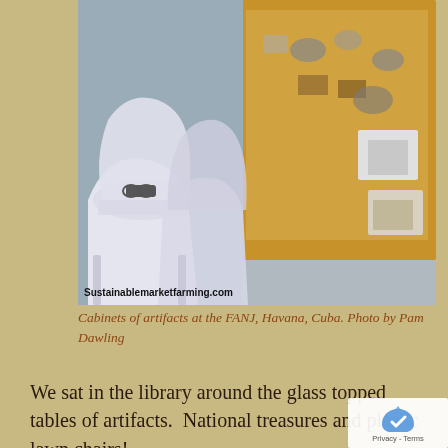[Figure (photo): Photo of cabinets of artifacts at FANJ, Havana, Cuba. Shows white plastic lawn chairs in the foreground and glass-topped tables displaying medals, coins, and artifacts in wooden display cases. Watermark 'Sustainablemarketfarming.com' visible at bottom left of photo.]
Cabinets of artifacts at the FANJ, Havana, Cuba. Photo by Pam Dawling
We sat in the library around the glass topped tables of artifacts.  National treasures and plastic lawn chairs!
There are 11 million Cubans, the population is not growing. The island of Cuba is only 30 miles wide at the thinnest point, and so the coun is heavily influenced by the ocean. There ar